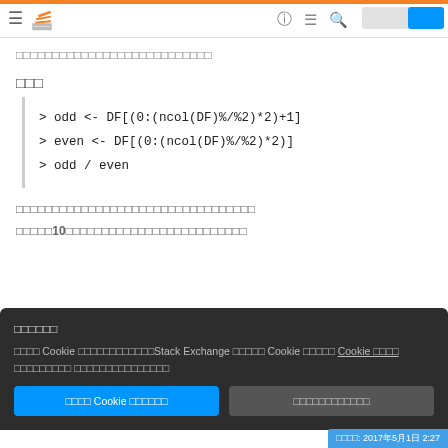Stack Overflow navigation bar with logo, icons, and login/signup buttons
□□□□□□□□□□□□□□□□□□□□□□□□□□□
□□□
□□□□□□□□□□□□□□□□□□□□□□□□□□□□□□□
□□□□□10□□□□□□□□□□□□□□□□□□□□□□□
□□□□□□
□□□□ Cookie □□□□□□□□□□□□Stack Exchange □□□□□ Cookie □□□□□ Cookie □□□□ □□□□□□□□□ □□□□□□□□□□□□□□□
□□□□ Cookie □□□□□□   □□□□□□□□□□□□□□